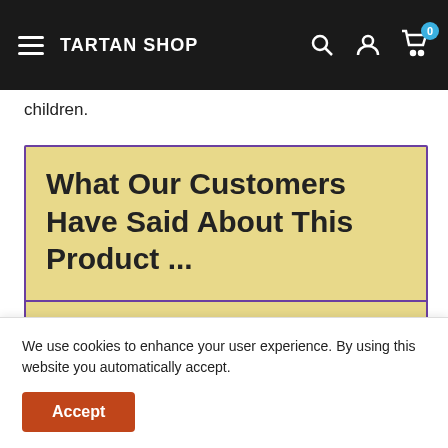TARTAN SHOP
children.
What Our Customers Have Said About This Product ...
The service was remarkably fast for shipping from Scotland to the USA. The tartan scarves were of the best quality and a welcomed addition for the family. Based
We use cookies to enhance your user experience. By using this website you automatically accept.